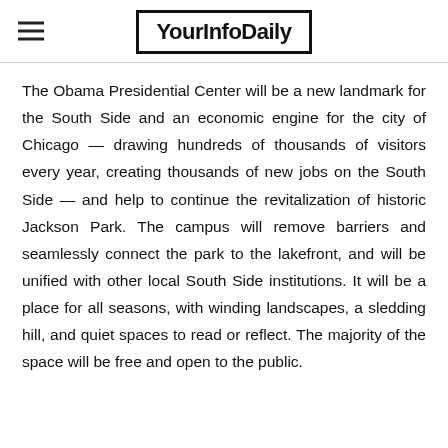YourInfoDaily
The Obama Presidential Center will be a new landmark for the South Side and an economic engine for the city of Chicago — drawing hundreds of thousands of visitors every year, creating thousands of new jobs on the South Side — and help to continue the revitalization of historic Jackson Park. The campus will remove barriers and seamlessly connect the park to the lakefront, and will be unified with other local South Side institutions. It will be a place for all seasons, with winding landscapes, a sledding hill, and quiet spaces to read or reflect. The majority of the space will be free and open to the public.